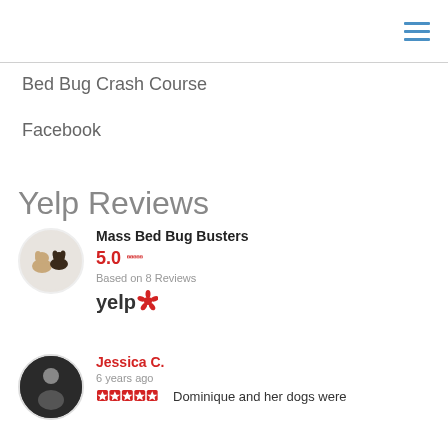Bed Bug Crash Course
Facebook
Yelp Reviews
Mass Bed Bug Busters 5.0 ★★★★★ Based on 8 Reviews yelp
Jessica C. 6 years ago ★★★★★ Dominique and her dogs were